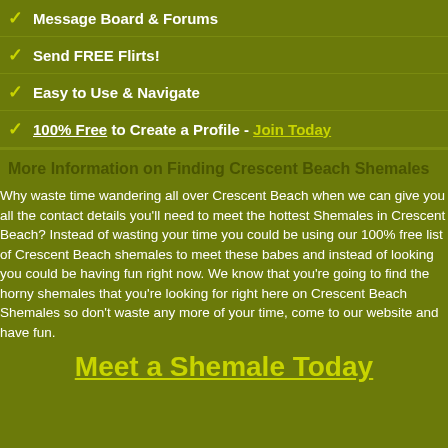Message Board & Forums
Send FREE Flirts!
Easy to Use & Navigate
100% Free to Create a Profile - Join Today
More Information on Finding Crescent Beach Shemales
Why waste time wandering all over Crescent Beach when we can give you all the contact details you'll need to meet the hottest Shemales in Crescent Beach? Instead of wasting your time you could be using our 100% free list of Crescent Beach shemales to meet these babes and instead of looking you could be having fun right now. We know that you're going to find the horny shemales that you're looking for right here on Crescent Beach Shemales so don't waste any more of your time, come to our website and have fun.
Meet a Shemale Today